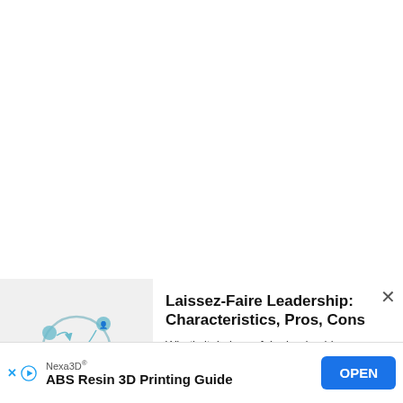[Figure (illustration): Illustration of a round robot/character with small figures around it in a circular arrangement, on a light gray background]
Laissez-Faire Leadership: Characteristics, Pros, Cons
What's it: Laissez-faire leadership refers to a leadership style in wh
[Figure (other): Advertisement banner: Nexa3D® ABS Resin 3D Printing Guide with OPEN button]
Nexa3D® ABS Resin 3D Printing Guide OPEN